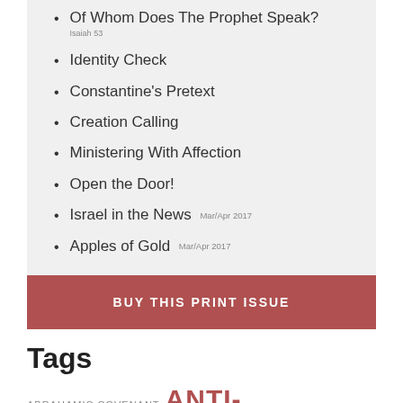Of Whom Does The Prophet Speak? Isaiah 53
Identity Check
Constantine's Pretext
Creation Calling
Ministering With Affection
Open the Door!
Israel in the News Mar/Apr 2017
Apples of Gold Mar/Apr 2017
BUY THIS PRINT ISSUE
Tags
ABRAHAMIC COVENANT ANTI-SEMITISM ARAB-ISRAELI